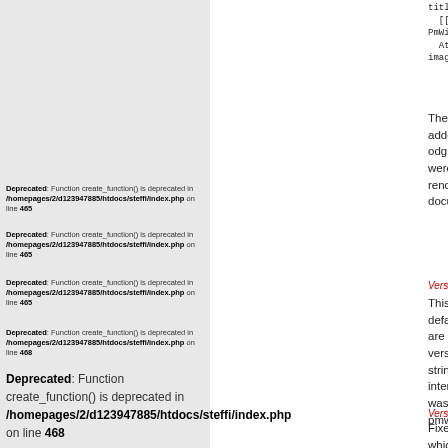title"|Home]]
  [[http://www.pmwiki.org"Home of PmWiki"]]
  Attach:image.jpg"Tooltip title of the image"
The following new upload extensions were added: svg, xcf, ogg, flac, ogv, mp4, webm, odg, epub. A couple of minor optimizations were added (MarkupExpressions and rendering of page history) and the documentation was updated.
Version 2.2.34 (2011-10-10)
This version resets the timestamps of the default pages Site(Admin).AuthUser which are expected in case of upgrades from the versions 2.1.*. Core MarkupExpressions strings should now work better with international characters. The documentation was updated to its latest state from pmwiki.org.
Version 2.2.33 (2011-08-23)
Fixes a security bug introduced in 2.2.32 which left the groups Site and SiteAdmin open for reading and editing because the pages Site.GroupAttributes and SiteAdmin.GroupAttributes didn't have all necessary attributes.
Deprecated: Function create_function() is deprecated in /homepages/2/d123947885/htdocs/steffi/index.php on line 468
Deprecated: Function create_function() is deprecated in /homepages/2/d123947885/htdocs/steffi/index.php on line 468
Deprecated: Function create_function() is deprecated in /homepages/2/d123947885/htdocs/steffi/index.php on line 468
Deprecated: Function create_function() is deprecated in /homepages/2/d123947885/htdocs/steffi/index.php on line 468
Deprecated: Function create_function() is deprecated in /homepages/2/d123947885/htdocs/steffi/index.php on line 468
Deprecated: Function create_function() is deprecated in /homepages/2/d123947885/htdocs/steffi/index.php on line 468
Deprecated: Function create_function() is deprecated in /homepages/2/d123947885/htdocs/steffi/index.php on line 468